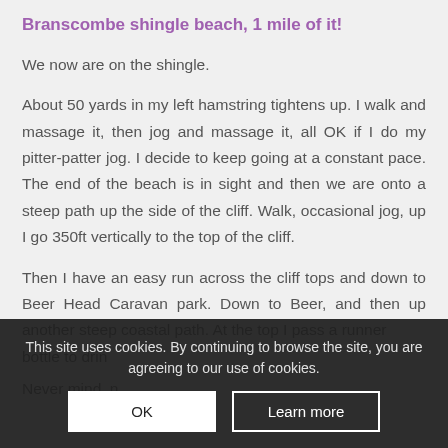Branscombe shingle beach, 1 mile of it!
We now are on the shingle.
About 50 yards in my left hamstring tightens up. I walk and massage it, then jog and massage it, all OK if I do my pitter-patter jog. I decide to keep going at a constant pace. The end of the beach is in sight and then we are onto a steep path up the side of the cliff. Walk, occasional jog, up I go 350ft vertically to the top of the cliff.
Then I have an easy run across the cliff tops and down to Beer Head Caravan park. Down to Beer, and then up another steep coastal path. At the top I pass a runner bottle to drin...
Never mind, n...
This site uses cookies. By continuing to browse the site, you are agreeing to our use of cookies.